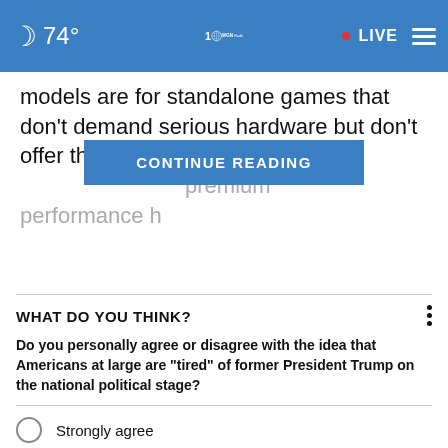74° WGN Radio LIVE
models are for standalone games that don't demand serious hardware but don't offer the best visual fidelity. In cont… premium performance h…
CONTINUE READING
WHAT DO YOU THINK?
Do you personally agree or disagree with the idea that Americans at large are "tired" of former President Trump on the national political stage?
Strongly agree
Somewhat agree
Somewhat disagree
Strongly disagree